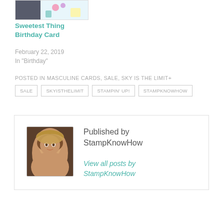[Figure (photo): Partial thumbnail image of a colorful birthday card with pastel dessert illustrations]
Sweetest Thing Birthday Card
February 22, 2019
In "Birthday"
POSTED IN MASCULINE CARDS, SALE, SKY IS THE LIMIT+
SALE | SKYISTHELIMIT | STAMPIN' UP! | STAMPKNOWHOW
Published by StampKnowHow
[Figure (photo): Profile photo of a smiling woman with blonde hair]
View all posts by StampKnowHow